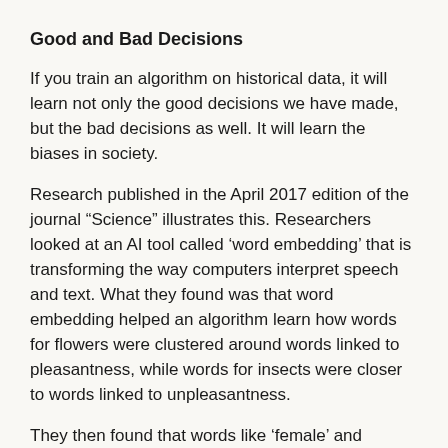Good and Bad Decisions
If you train an algorithm on historical data, it will learn not only the good decisions we have made, but the bad decisions as well. It will learn the biases in society.
Research published in the April 2017 edition of the journal “Science” illustrates this. Researchers looked at an AI tool called ‘word embedding’ that is transforming the way computers interpret speech and text. What they found was that word embedding helped an algorithm learn how words for flowers were clustered around words linked to pleasantness, while words for insects were closer to words linked to unpleasantness.
They then found that words like ‘female’ and ‘woman’ were more closely associated with arts and humanities occupations, while ‘male’ and ‘man’ were more closely associated with maths and engineering occupations.